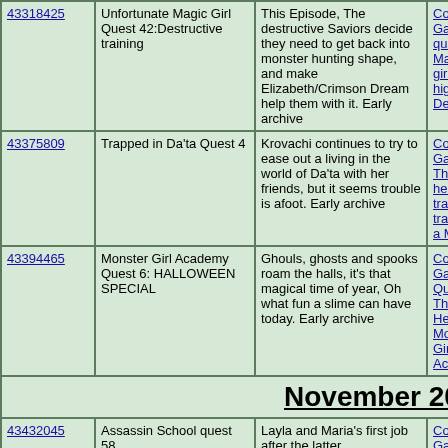| ID | Title | Description | Tags |
| --- | --- | --- | --- |
| 43318425 | Unfortunate Magic Girl Quest 42:Destructive training | This Episode, The destructive Saviors decide they need to get back into monster hunting shape, and make Elizabeth/Crimson Dream help them with it. Early archive | Collective Game, U quest, Magical girl, highschool, Destruc... |
| 43375809 | Trapped in Da'ta Quest 4 | Krovachi continues to try to ease out a living in the world of Da'ta with her friends, but it seems trouble is afoot. Early archive | Collective Game, T The headmaster, tra trapped in a MMO,... |
| 43394465 | Monster Girl Academy Quest 6: HALLOWEEN SPECIAL | Ghouls, ghosts and spooks roam the halls, it's that magical time of year, Oh what fun a slime can have today. Early archive | Collective Game, M Quest, The Headma Monster Girls, Acac... |
| 43432045 | Assassin School quest 58 | Layla and Maria's first job after the latter Vampirizations continues, and Layla needs to find a way out... | Collective Game, A Headmaster, Quest, Vampire, Catgirl... |
November 2015